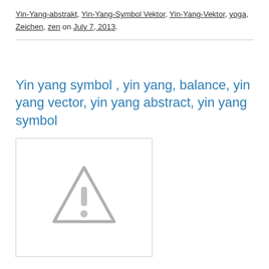Yin-Yang-abstrakt, Yin-Yang-Symbol Vektor, Yin-Yang-Vektor, yoga, Zeichen, zen on July 7, 2013.
Yin yang symbol , yin yang, balance, yin yang vector, yin yang abstract, yin yang symbol
[Figure (illustration): Placeholder image with a grey warning triangle exclamation mark icon indicating a broken or unavailable image.]